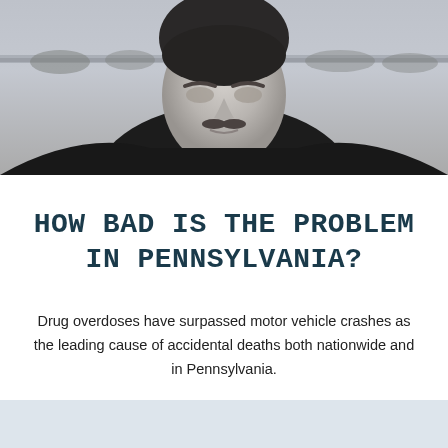[Figure (photo): Black and white photograph of a young man with a mustache looking downward, with an outdoor landscape visible in the background.]
HOW BAD IS THE PROBLEM IN PENNSYLVANIA?
Drug overdoses have surpassed motor vehicle crashes as the leading cause of accidental deaths both nationwide and in Pennsylvania.